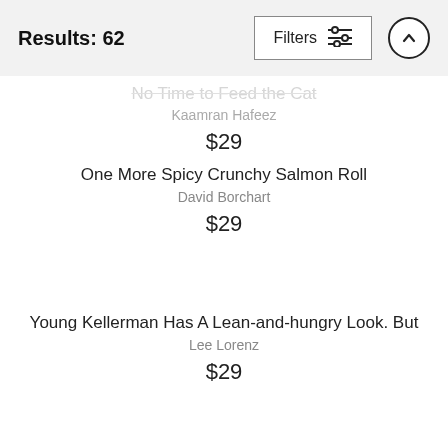Results: 62
No Time to Feed the Cat
Kaamran Hafeez
$29
One More Spicy Crunchy Salmon Roll
David Borchart
$29
Young Kellerman Has A Lean-and-hungry Look. But
Lee Lorenz
$29